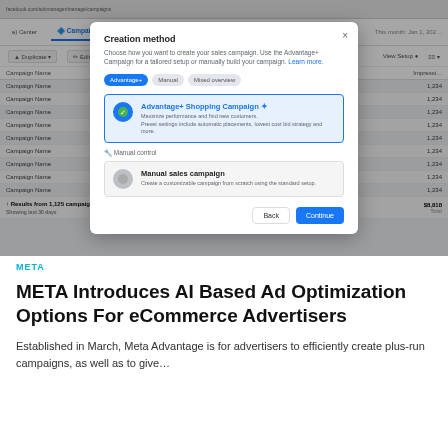[Figure (screenshot): Screenshot of Facebook Ads Manager showing a 'Creation method' modal dialog. The modal offers two options: 'Advantage+ Shopping Campaign' (selected, highlighted in blue) and 'Manual sales campaign' (unselected). The background shows a campaign list table with multiple 'Campaign Name' rows. The modal has Back and Continue buttons at the bottom.]
META
META Introduces AI Based Ad Optimization Options For eCommerce Advertisers
Established in March, Meta Advantage is for advertisers to efficiently create plus-run campaigns, as well as to give...